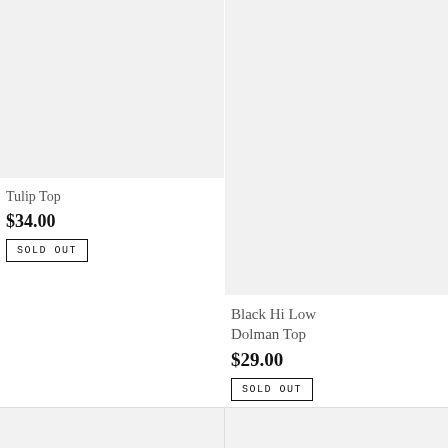[Figure (photo): Product image placeholder for Tulip Top, light gray background]
Tulip Top
$34.00
SOLD OUT
[Figure (photo): Product image placeholder for Black Hi Low Dolman Top, light gray background]
Black Hi Low Dolman Top
$29.00
SOLD OUT
[Figure (photo): Product image placeholder bottom left, light gray background]
[Figure (photo): Product image placeholder bottom right, light gray background]